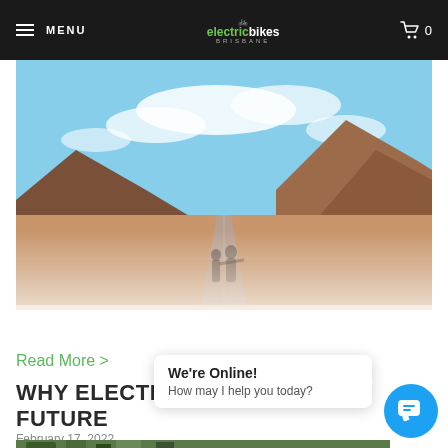MENU | electricbikes | 0
[Figure (photo): Two cyclists/people on a desert road with red rock canyon mesa in background under blue sky, photo fades to white at bottom]
Read More >
WHY ELECTRIC BIKES ARE THE FUTURE
February 17, 2022
[Figure (photo): Bottom partial photo of outdoor scene with trees]
We're Online!
How may I help you today?